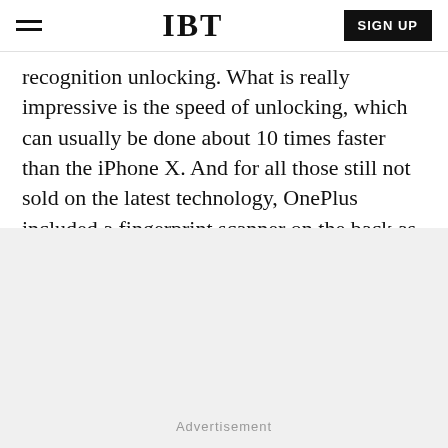IBT | SIGN UP
recognition unlocking. What is really impressive is the speed of unlocking, which can usually be done about 10 times faster than the iPhone X. And for all those still not sold on the latest technology, OnePlus included a fingerprint scanner on the back as well.
[Figure (other): Gray advertisement placeholder area at the bottom of the page]
Advertisement